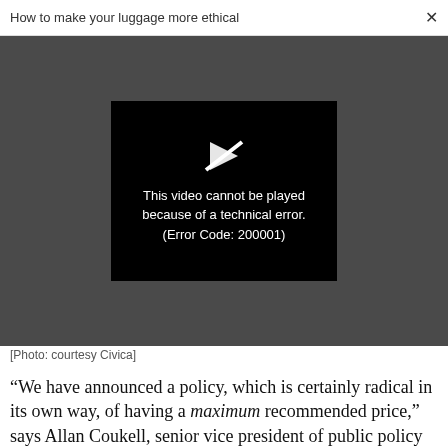How to make your luggage more ethical  ×
[Figure (screenshot): Video player showing error message: 'This video cannot be played because of a technical error. (Error Code: 200001)' on a black background, embedded in a dark gray area.]
[Photo: courtesy Civica]
“We have announced a policy, which is certainly radical in its own way, of having a maximum recommended price,” says Allan Coukell, senior vice president of public policy at Civica.“When we announced we would be bringing insulin to market, we said nobody should pay more than $30 a vial